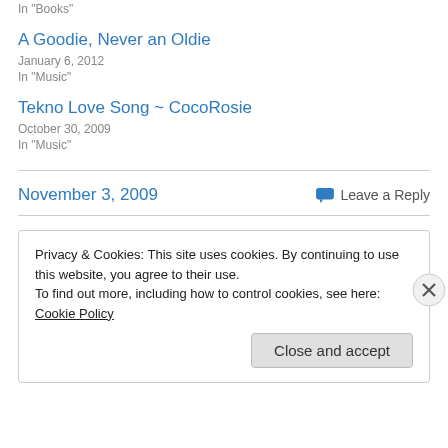In "Books"
A Goodie, Never an Oldie
January 6, 2012
In "Music"
Tekno Love Song ~ CocoRosie
October 30, 2009
In "Music"
November 3, 2009
Leave a Reply
Privacy & Cookies: This site uses cookies. By continuing to use this website, you agree to their use.
To find out more, including how to control cookies, see here: Cookie Policy
Close and accept